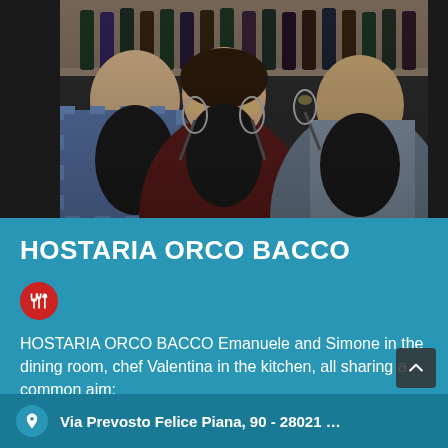[Figure (photo): Three restaurant staff members (two men and one woman) toasting with wine glasses in front of a shelf of wine bottles. All wearing dark aprons. The woman in the center holds two champagne flutes.]
HOSTARIA ORCO BACCO
[Figure (logo): Red circle icon with white cutlery (fork and knife) symbol]
HOSTARIA ORCO BACCO Emanuele and Simone in the dining room, chef Valentina in the kitchen, all sharing a common aim:
Via Prevosto Felice Piana, 90 - 28021 …